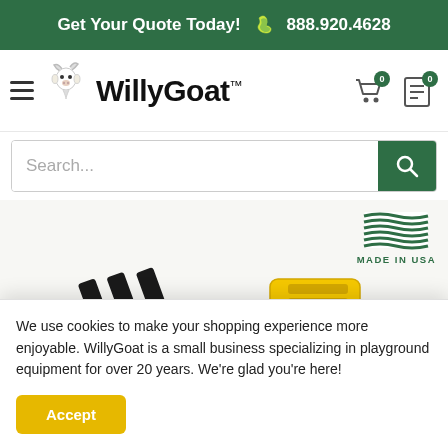Get Your Quote Today! 888.920.4628
[Figure (logo): WillyGoat logo with goat illustration and bold wordmark]
[Figure (screenshot): Search bar with magnifying glass button]
[Figure (illustration): Made in USA badge with flag stripes]
[Figure (photo): Yellow and black cable tie / zip tie product image]
We use cookies to make your shopping experience more enjoyable. WillyGoat is a small business specializing in playground equipment for over 20 years. We're glad you're here!
Accept
Click on image to zoom